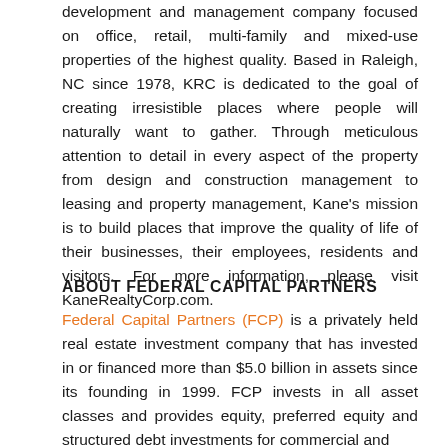development and management company focused on office, retail, multi-family and mixed-use properties of the highest quality. Based in Raleigh, NC since 1978, KRC is dedicated to the goal of creating irresistible places where people will naturally want to gather. Through meticulous attention to detail in every aspect of the property from design and construction management to leasing and property management, Kane's mission is to build places that improve the quality of life of their businesses, their employees, residents and visitors. For more information, please visit KaneRealtyCorp.com.
ABOUT FEDERAL CAPITAL PARTNERS
Federal Capital Partners (FCP) is a privately held real estate investment company that has invested in or financed more than $5.0 billion in assets since its founding in 1999. FCP invests in all asset classes and provides equity, preferred equity and structured debt investments for commercial and